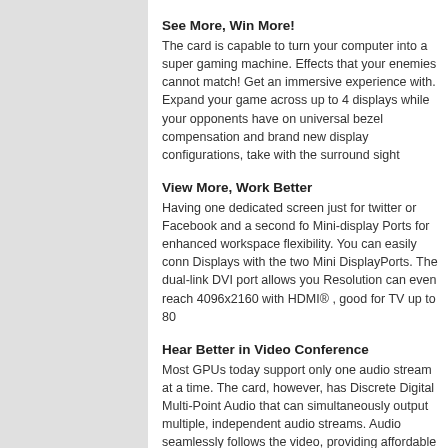See More, Win More!
The card is capable to turn your computer into a super gaming machine. Effects that your enemies cannot match! Get an immersive experience with. Expand your game across up to 4 displays while your opponents have on universal bezel compensation and brand new display configurations, take with the surround sight
View More, Work Better
Having one dedicated screen just for twitter or Facebook and a second fo Mini-display Ports for enhanced workspace flexibility. You can easily conn Displays with the two Mini DisplayPorts. The dual-link DVI port allows you Resolution can even reach 4096x2160 with HDMI® , good for TV up to 80
Hear Better in Video Conference
Most GPUs today support only one audio stream at a time. The card, however, has Discrete Digital Multi-Point Audio that can simultaneously output multiple, independent audio streams. Audio seamlessly follows the video, providing affordable multi-display, multi-audio conferencing for consumers!
What's in the box
HIS Graphics Card
DVI-I to VGA Adapter
Install CD with Multilingual User Guide